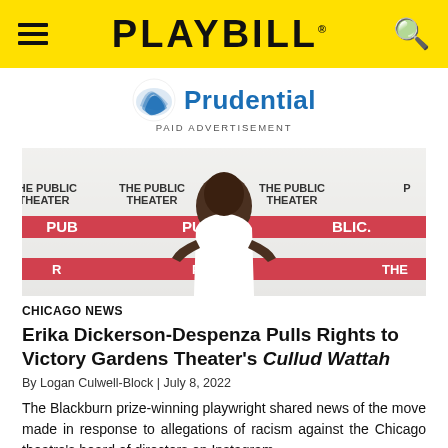PLAYBILL
[Figure (logo): Prudential logo with blue rock/wave icon and blue 'Prudential' wordmark]
PAID ADVERTISEMENT
[Figure (photo): A person in a white one-shoulder dress posing in front of The Public Theater step-and-repeat backdrop with red PUBLIC THEATER branding]
CHICAGO NEWS
Erika Dickerson-Despenza Pulls Rights to Victory Gardens Theater's Cullud Wattah
By Logan Culwell-Block | July 8, 2022
The Blackburn prize-winning playwright shared news of the move made in response to allegations of racism against the Chicago theatre's board of directors on Instagram.